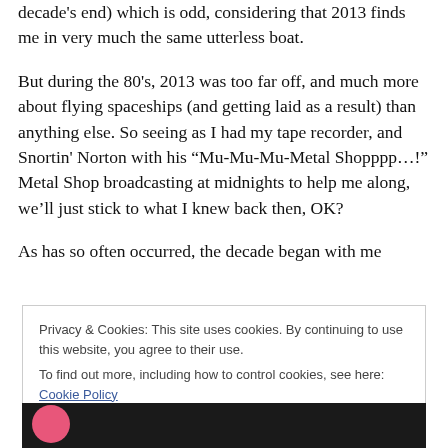decade's end) which is odd, considering that 2013 finds me in very much the same utterless boat.
But during the 80's, 2013 was too far off, and much more about flying spaceships (and getting laid as a result) than anything else. So seeing as I had my tape recorder, and Snortin' Norton with his “Mu-Mu-Mu-Metal Shopppp…!” Metal Shop broadcasting at midnights to help me along, we’ll just stick to what I knew back then, OK?
As has so often occurred, the decade began with me
Privacy & Cookies: This site uses cookies. By continuing to use this website, you agree to their use.
To find out more, including how to control cookies, see here: Cookie Policy
Close and accept
[Figure (photo): Dark strip at bottom showing a pink circle on the left and dark background, likely part of a blog post image]